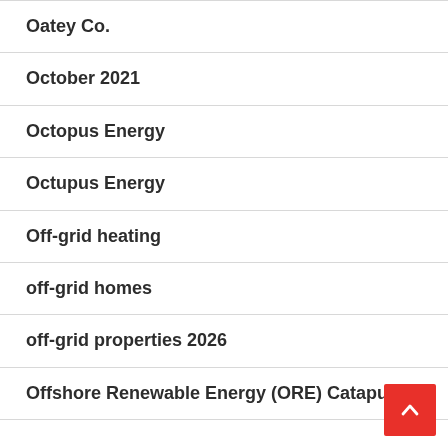Oatey Co.
October 2021
Octopus Energy
Octupus Energy
Off-grid heating
off-grid homes
off-grid properties 2026
Offshore Renewable Energy (ORE) Catapult